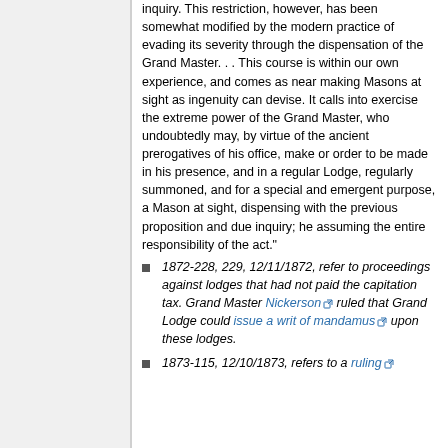inquiry. This restriction, however, has been somewhat modified by the modern practice of evading its severity through the dispensation of the Grand Master. . . This course is within our own experience, and comes as near making Masons at sight as ingenuity can devise. It calls into exercise the extreme power of the Grand Master, who undoubtedly may, by virtue of the ancient prerogatives of his office, make or order to be made in his presence, and in a regular Lodge, regularly summoned, and for a special and emergent purpose, a Mason at sight, dispensing with the previous proposition and due inquiry; he assuming the entire responsibility of the act."
1872-228, 229, 12/11/1872, refer to proceedings against lodges that had not paid the capitation tax. Grand Master Nickerson ruled that Grand Lodge could issue a writ of mandamus upon these lodges.
1873-115, 12/10/1873, refers to a ruling